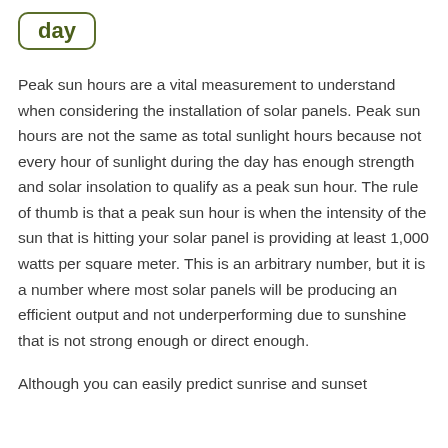day
Peak sun hours are a vital measurement to understand when considering the installation of solar panels. Peak sun hours are not the same as total sunlight hours because not every hour of sunlight during the day has enough strength and solar insolation to qualify as a peak sun hour. The rule of thumb is that a peak sun hour is when the intensity of the sun that is hitting your solar panel is providing at least 1,000 watts per square meter. This is an arbitrary number, but it is a number where most solar panels will be producing an efficient output and not underperforming due to sunshine that is not strong enough or direct enough.
Although you can easily predict sunrise and sunset